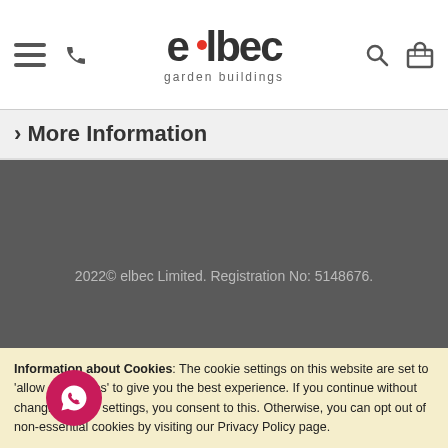elbec garden buildings — navigation header with hamburger menu, phone icon, search icon, basket icon
> More Information
[Figure (other): Dark grey footer background area]
2022© elbec Limited. Registration No: 5148676.
elbec Limited is registered in England and Wales No 5148676. We...
Information about Cookies: The cookie settings on this website are set to 'allow all cookies' to give you the best experience. If you continue without changing these settings, you consent to this. Otherwise, you can opt out of non-essential cookies by visiting our Privacy Policy page.